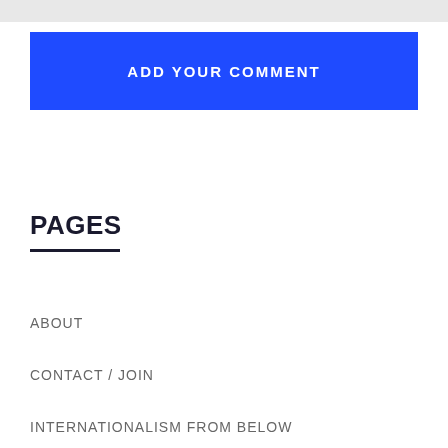[Figure (other): Gray top bar / input field area]
ADD YOUR COMMENT
PAGES
ABOUT
CONTACT / JOIN
INTERNATIONALISM FROM BELOW